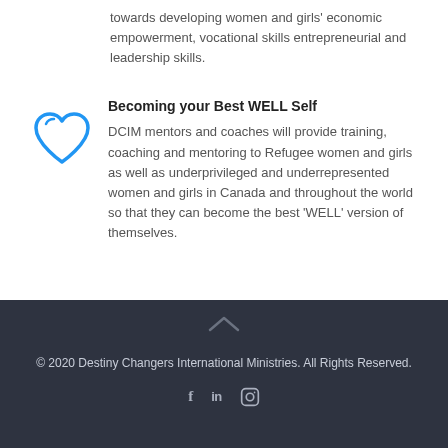towards developing women and girls' economic empowerment, vocational skills entrepreneurial and leadership skills.
[Figure (illustration): Blue outline heart icon]
Becoming your Best WELL Self
DCIM mentors and coaches will provide training, coaching and mentoring to Refugee women and girls as well as underprivileged and underrepresented women and girls in Canada and throughout the world so that they can become the best 'WELL' version of themselves.
© 2020 Destiny Changers International Ministries. All Rights Reserved.